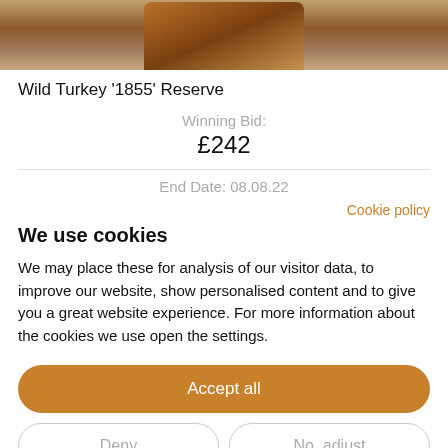[Figure (photo): Partial product image of Wild Turkey '1855' Reserve whisky bottle, cropped at bottom]
Wild Turkey '1855' Reserve
Winning Bid:
£242
End Date: 08.08.22
Cookie policy
We use cookies
We may place these for analysis of our visitor data, to improve our website, show personalised content and to give you a great website experience. For more information about the cookies we use open the settings.
Accept all
Deny
No, adjust